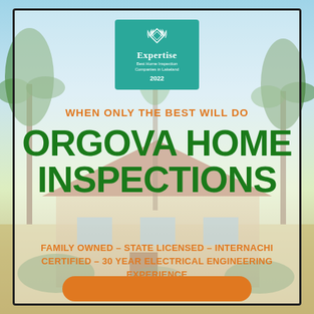[Figure (photo): Background photo of a suburban Florida home with palm trees, blue sky, and lush landscaping.]
[Figure (logo): Expertise.com badge: teal/green square badge with diamond logo, 'Expertise', 'Best Home Inspection Companies in Lakeland', '2022']
WHEN ONLY THE BEST WILL DO
ORGOVA HOME INSPECTIONS
FAMILY OWNED – STATE LICENSED – INTERNACHI CERTIFIED – 30 YEAR ELECTRICAL ENGINEERING EXPERIENCE
[Figure (other): Orange rounded rectangle button at bottom (partially visible)]